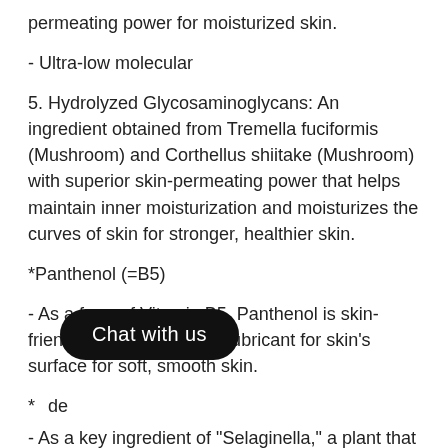permeating power for moisturized skin.
- Ultra-low molecular
5. Hydrolyzed Glycosaminoglycans: An ingredient obtained from Tremella fuciformis (Mushroom) and Corthellus shiitake (Mushroom) with superior skin-permeating power that helps maintain inner moisturization and moisturizes the curves of skin for stronger, healthier skin.
*Panthenol (=B5)
- As a form of Vitamin B5, Panthenol is skin-friendly and is used as a lubricant for skin’s surface for soft, smooth skin.
*C…de
Chat with us
- As a key ingredient of “Selaginella,” a plant that endures strong UV rays and droughts in the desert,